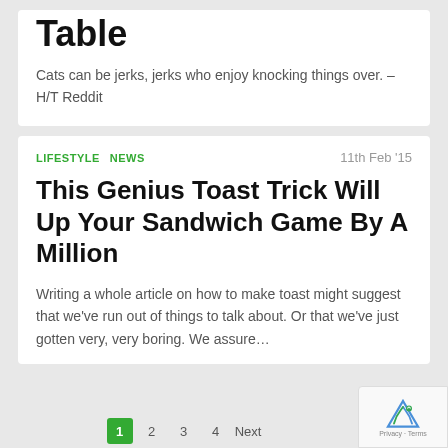Table
Cats can be jerks, jerks who enjoy knocking things over. – H/T Reddit
LIFESTYLE   NEWS   11th Feb '15
This Genius Toast Trick Will Up Your Sandwich Game By A Million
Writing a whole article on how to make toast might suggest that we've run out of things to talk about. Or that we've just gotten very, very boring. We assure…